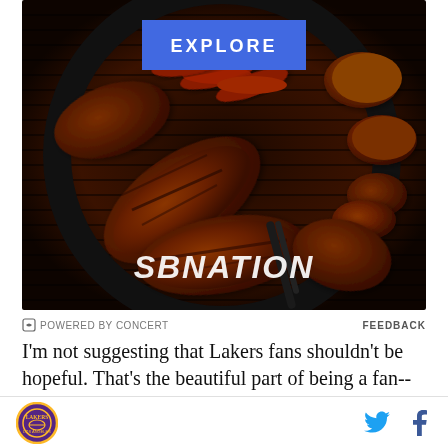[Figure (photo): Overhead view of a round BBQ grill with various meats including ribs, sausages, and chicken pieces arranged on grill grates. A black grill tong is visible. SBNation logo watermark overlaid in white text. Blue 'EXPLORE' button overlay at top center.]
POWERED BY CONCERT   FEEDBACK
I'm not suggesting that Lakers fans shouldn't be hopeful. That's the beautiful part of being a fan--there's
[Figure (logo): Lakers team logo circular badge in purple and gold, and social media icons for Twitter (bird) and Facebook (f)]